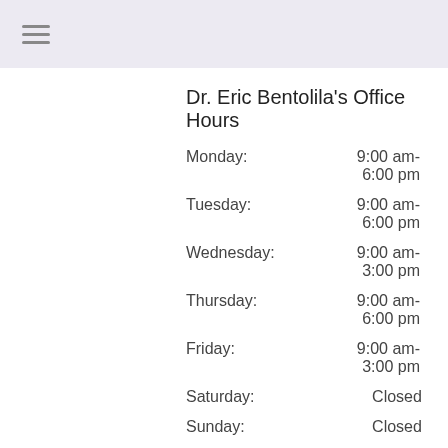Dr. Eric Bentolila's Office Hours
| Day | Hours |
| --- | --- |
| Monday: | 9:00 am-6:00 pm |
| Tuesday: | 9:00 am-6:00 pm |
| Wednesday: | 9:00 am-3:00 pm |
| Thursday: | 9:00 am-6:00 pm |
| Friday: | 9:00 am-3:00 pm |
| Saturday: | Closed |
| Sunday: | Closed |
Dr. Jacqueline Saitta's Office Hours
| Day | Hours |
| --- | --- |
| Monday: | 9:00 AM - 4:30 PM, BAYONNE |
| Tuesday: | 9:00 AM - 4:30 PM, BAYONNE |
| Wednesday: | 9:00 AM - 6:00 PM, |